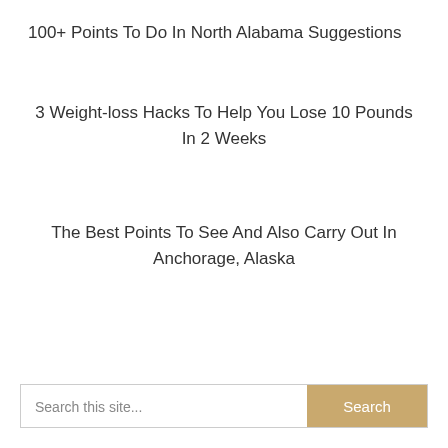100+ Points To Do In North Alabama Suggestions
3 Weight-loss Hacks To Help You Lose 10 Pounds In 2 Weeks
The Best Points To See And Also Carry Out In Anchorage, Alaska
Search this site...